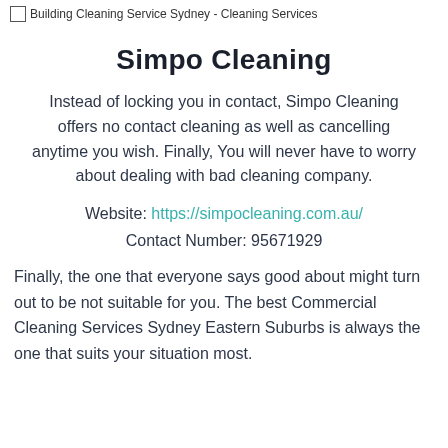[Figure (other): Broken image placeholder with alt text: Building Cleaning Service Sydney - Cleaning Services]
Simpo Cleaning
Instead of locking you in contact, Simpo Cleaning offers no contact cleaning as well as cancelling anytime you wish. Finally, You will never have to worry about dealing with bad cleaning company.
Website: https://simpocleaning.com.au/
Contact Number: 95671929
Finally, the one that everyone says good about might turn out to be not suitable for you. The best Commercial Cleaning Services Sydney Eastern Suburbs is always the one that suits your situation most.